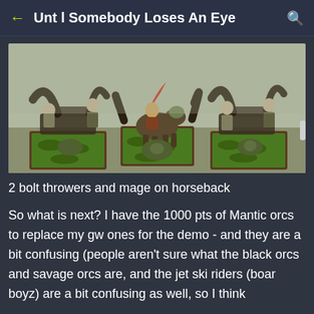Unt l Somebody Loses An Eye
[Figure (photo): Three painted miniature figurines on green grass bases — two bolt thrower war machines with crew figures and a mage on horseback, arranged side by side on square gaming bases.]
2 bolt throwers and mage on horseback
So what is next? I have the 1000 pts of Mantic orcs to replace my gw ones for the demo - and they are a bit confusing (people aren't sure what the black orcs and savage orcs are, and the jet ski riders (boar boyz) are a bit confusing as well, so I think